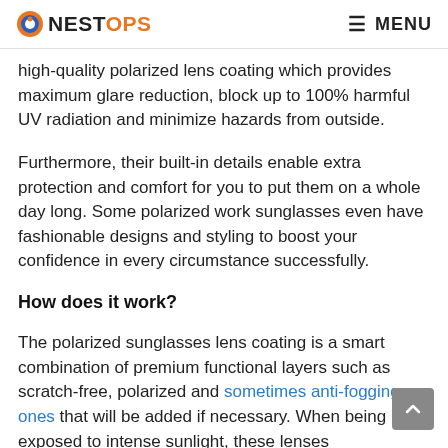NESTOPS  MENU
high-quality polarized lens coating which provides maximum glare reduction, block up to 100% harmful UV radiation and minimize hazards from outside.
Furthermore, their built-in details enable extra protection and comfort for you to put them on a whole day long. Some polarized work sunglasses even have fashionable designs and styling to boost your confidence in every circumstance successfully.
How does it work?
The polarized sunglasses lens coating is a smart combination of premium functional layers such as scratch-free, polarized and sometimes anti-fogging ones that will be added if necessary. When being exposed to intense sunlight, these lenses